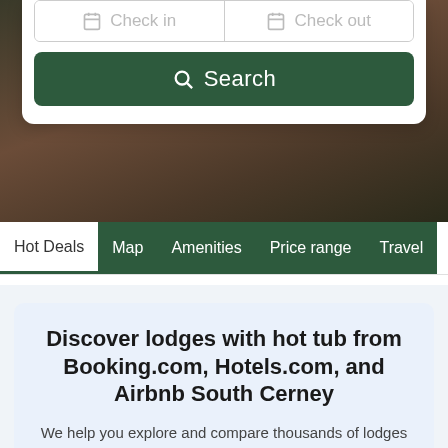[Figure (screenshot): Hero background image showing dark earthy tones, appearing to be a lodge or nature setting]
Check in
Check out
Search
Hot Deals | Map | Amenities | Price range | Travel
Discover lodges with hot tub from Booking.com, Hotels.com, and Airbnb South Cerney
We help you explore and compare thousands of lodges and cottages with jacuzzis or hot tubs for your next trip.